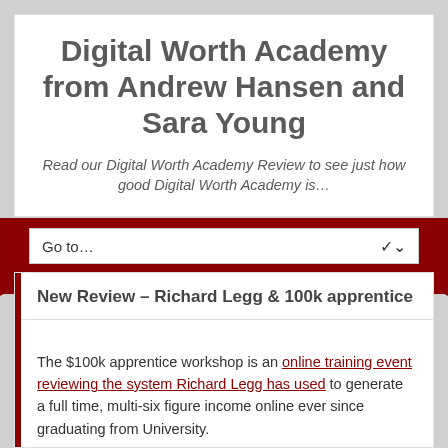Digital Worth Academy from Andrew Hansen and Sara Young
Read our Digital Worth Academy Review to see just how good Digital Worth Academy is…
New Review – Richard Legg & 100k apprentice
The $100k apprentice workshop is an online training event reviewing the system Richard Legg has used to generate a full time, multi-six figure income online ever since graduating from University.